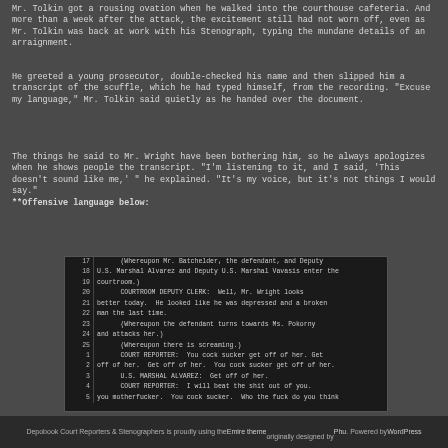Mr. Tolkin got a rousing ovation when he walked into the courthouse cafeteria. And more than a week after the attack, the excitement still had not worn off, even as Mr. Tolkin was back at work with his Stenograph, typing the mundane details of an arraignment.
He greeted a young prosecutor, double-checked his name and then slipped him a transcript of the scuffle, which he had typed himself, from the recording. "Excuse my language," Mr. Tolkin said quietly as he handed over the document.
The things he said to Mr. Wright have been bothering him, so he always apologizes when he shows people the transcript. "I'm listening to it, and I said, 'This doesn't sound like me,' " he explained. "It's my voice, but it's not things I would say."
**Offensive language below:
[Figure (screenshot): Transcript excerpt showing court proceedings lines 17-5, depicting Mr. Batchelder entering courtroom with U.S. Marshals, courtroom deputy clerk commentary, defendant attacking Ms. Pokorny, and court reporter's verbal response.]
Depobook Court Reporters & Stenographers is proudly using the Emire theme originally designed by Phu. Powered by WordPress